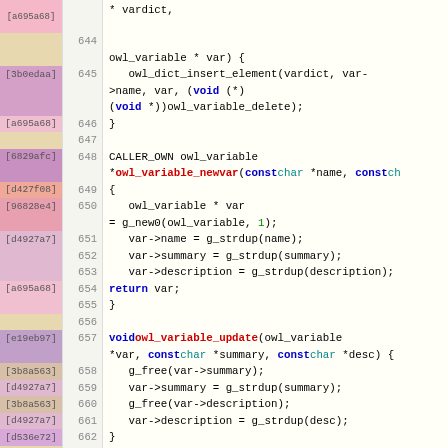[Figure (screenshot): Source code diff view showing C code for owl_variable functions with commit hashes in left margin and line numbers, lines 643-667]